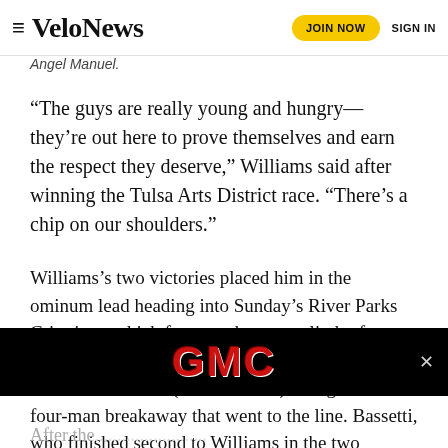VeloNews  JOIN NOW  SIGN IN
Angel Manuel.
“The guys are really young and hungry—they’re out here to prove themselves and earn the respect they deserve,” Williams said after winning the Tulsa Arts District race. “There’s a chip on our shoulders.”
Williams’s two victories placed him in the ominum lead heading into Sunday’s River Parks Criterium, which features the steep climb of Crybaby Hill. The race saw a long breakaway, with Sam Bassetti (Elevate-KHS) riding into a four-man breakaway that went to the line. Bassetti, who finished second to Williams in the two previous criteriums, won the sprint, which placed him ahead of Williams in the final omnium standings with 85 points to Williams’s 72 points.
[Figure (other): GMC advertisement banner on black background with red GMC logo text and close button]
After the...